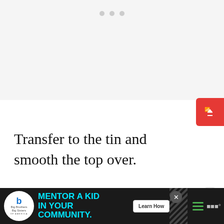[Figure (photo): Light gray top area placeholder with three small dots indicating loading or navigation dots]
Transfer to the tin and smooth the top over.
[Figure (photo): Close-up photo of batter or mixture smoothed into a round baking tin, viewed from above on a dark granite surface]
[Figure (screenshot): What's Next banner showing Traditional Homemade... recipe thumbnail]
[Figure (screenshot): Advertisement bar: Big Brothers Big Sisters - MENTOR A KID IN YOUR COMMUNITY with Learn How button]